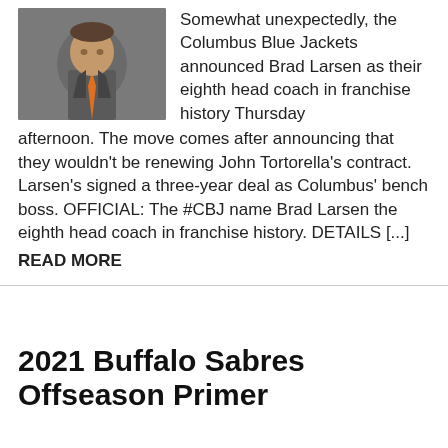[Figure (photo): Photo of a man in a grey suit with an orange tie, appears to be a hockey coach]
Somewhat unexpectedly, the Columbus Blue Jackets announced Brad Larsen as their eighth head coach in franchise history Thursday afternoon. The move comes after announcing that they wouldn't be renewing John Tortorella's contract. Larsen's signed a three-year deal as Columbus' bench boss. OFFICIAL: The #CBJ name Brad Larsen the eighth head coach in franchise history. DETAILS [...]
READ MORE
2021 Buffalo Sabres Offseason Primer